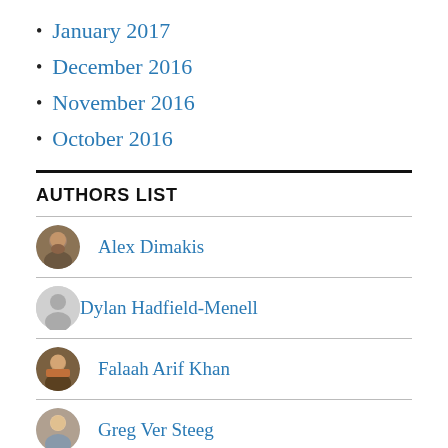January 2017
December 2016
November 2016
October 2016
AUTHORS LIST
Alex Dimakis
Dylan Hadfield-Menell
Falaah Arif Khan
Greg Ver Steeg